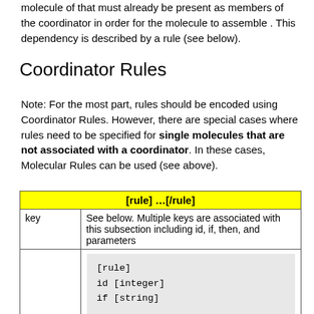molecule of that must already be present as members of the coordinator in order for the molecule to assemble . This dependency is described by a rule (see below).
Coordinator Rules
Note: For the most part, rules should be encoded using Coordinator Rules. However, there are special cases where rules need to be specified for single molecules that are not associated with a coordinator. In these cases, Molecular Rules can be used (see above).
| [rule] …[/rule] |
| --- |
| key | See below. Multiple keys are associated with this subsection including id, if, then, and parameters |
|  | [rule]
id [integer]
if [string]
. |